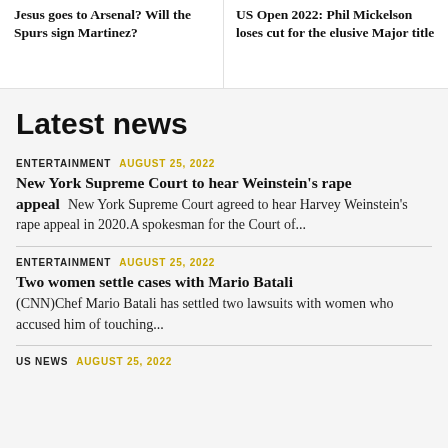Jesus goes to Arsenal? Will the Spurs sign Martinez?
US Open 2022: Phil Mickelson loses cut for the elusive Major title
Latest news
ENTERTAINMENT  AUGUST 25, 2022
New York Supreme Court to hear Weinstein's rape appeal  New York Supreme Court agreed to hear Harvey Weinstein's rape appeal in 2020.A spokesman for the Court of...
ENTERTAINMENT  AUGUST 25, 2022
Two women settle cases with Mario Batali  (CNN)Chef Mario Batali has settled two lawsuits with women who accused him of touching...
US NEWS  AUGUST 25, 2022